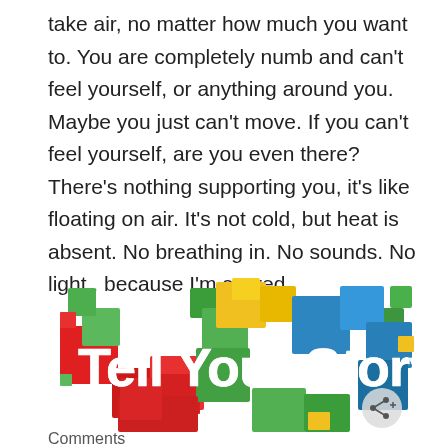take air, no matter how much you want to. You are completely numb and can't feel yourself, or anything around you. Maybe you just can't move. If you can't feel yourself, are you even there? There's nothing supporting you, it's like floating on air. It's not cold, but heat is absent. No breathing in. No sounds. No light.. because I'm scared.
[Figure (logo): Colorful 'Tell Your Story' logo made of overlapping colored squares in red, green, blue, yellow, and orange with bold white text reading 'Tell Your Story' and a small share icon in the bottom right.]
Comments